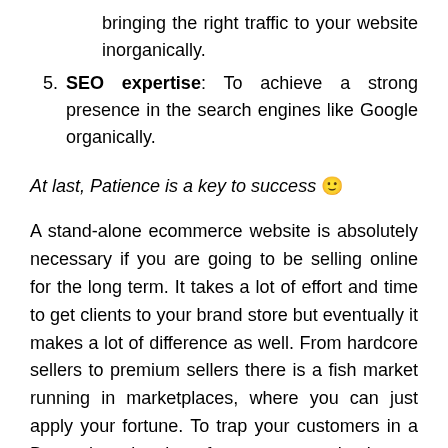bringing the right traffic to your website inorganically.
SEO expertise: To achieve a strong presence in the search engines like Google organically.
At last, Patience is a key to success 🙂
A stand-alone ecommerce website is absolutely necessary if you are going to be selling online for the long term. It takes a lot of effort and time to get clients to your brand store but eventually it makes a lot of difference as well. From hardcore sellers to premium sellers there is a fish market running in marketplaces, where you can just apply your fortune. To trap your customers in a Bermuda triangle of your store having a personal brand web store is essential. And when done effectively the impacts are equivalent to diviness of the sea. Start your own ecommerce